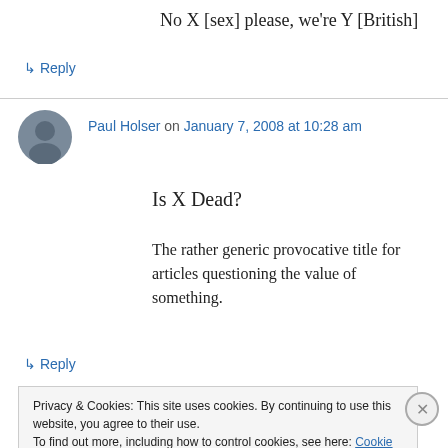No X [sex] please, we're Y [British]
↳ Reply
Paul Holser on January 7, 2008 at 10:28 am
Is X Dead?
The rather generic provocative title for articles questioning the value of something.
↳ Reply
Privacy & Cookies: This site uses cookies. By continuing to use this website, you agree to their use.
To find out more, including how to control cookies, see here: Cookie Policy